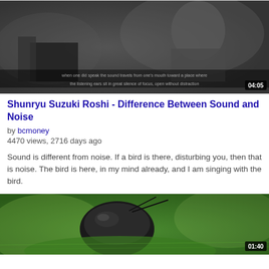[Figure (screenshot): Black and white video thumbnail showing a scene with a person and equipment, with subtitles visible. Duration badge shows 04:05.]
Shunryu Suzuki Roshi - Difference Between Sound and Noise
by bcmoney
4470 views, 2716 days ago
Sound is different from noise. If a bird is there, disturbing you, then that is noise. The bird is here, in my mind already, and I am singing with the bird.
[Figure (screenshot): Color video thumbnail showing a close-up macro photo of a dark beetle/bug on a green plant. Duration badge shows 01:40.]